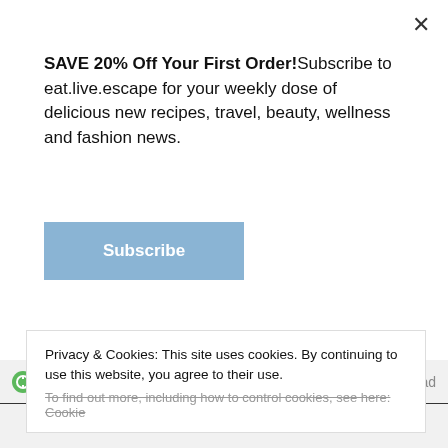SAVE 20% Off Your First Order!Subscribe to eat.live.escape for your weekly dose of delicious new recipes, travel, beauty, wellness and fashion news.
Subscribe
[Figure (logo): Ezoic logo with green circle icon and 'ezoic' text]
report this ad
Welcome to ELE
eat.live.escape is a travel, food and lifestyle brand featuring the very best of food recipes, travel, fashion
Privacy & Cookies: This site uses cookies. By continuing to use this website, you agree to their use.
To find out more, including how to control cookies, see here: Cookie